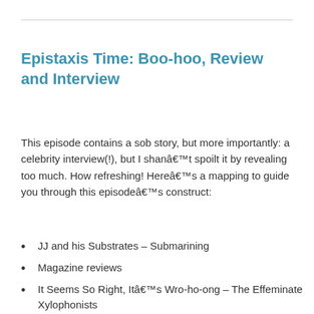Epistaxis Time: Boo-hoo, Review and Interview
This episode contains a sob story, but more importantly: a celebrity interview(!), but I shanâ€™t spoilt it by revealing too much. How refreshing! Hereâ€™s a mapping to guide you through this episodeâ€™s construct:
JJ and his Substrates – Submarining
Magazine reviews
It Seems So Right, Itâ€™s Wro-ho-ong – The Effeminate Xylophonists
Sludgemunchkin – Sludgemunchkin
Heimlich Manoeuvrability – Cindyâ€™s Workout Tapes (No. 14)